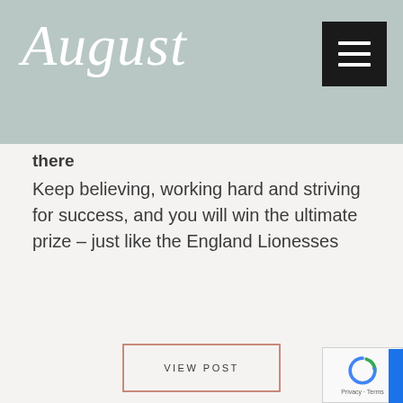August
there
Keep believing, working hard and striving for success, and you will win the ultimate prize – just like the England Lionesses
VIEW POST
[Figure (photo): Beach scene with soft-serve ice cream cone in foreground and text overlay reading AUGUST]